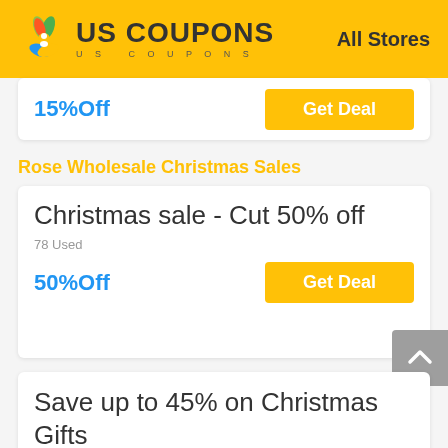US COUPONS | All Stores
15%Off
Get Deal
Rose Wholesale Christmas Sales
Christmas sale - Cut 50% off
78 Used
50%Off
Get Deal
Save up to 45% on Christmas Gifts